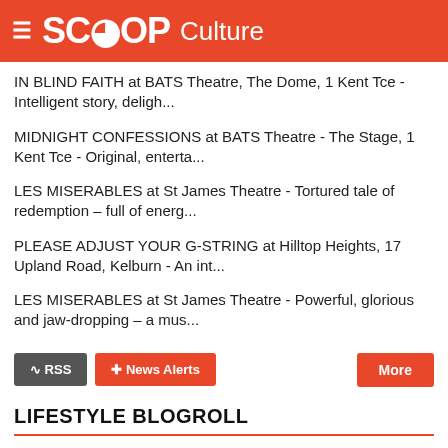SCOOP Culture
IN BLIND FAITH at BATS Theatre, The Dome, 1 Kent Tce - Intelligent story, deligh...
MIDNIGHT CONFESSIONS at BATS Theatre - The Stage, 1 Kent Tce - Original, enterta...
LES MISERABLES at St James Theatre - Tortured tale of redemption – full of energ...
PLEASE ADJUST YOUR G-STRING at Hilltop Heights, 17 Upland Road, Kelburn - An int...
LES MISERABLES at St James Theatre - Powerful, glorious and jaw-dropping – a mus...
LIFESTYLE BLOGROLL
EventFinder
Theatreview
Arts & Letters Daily